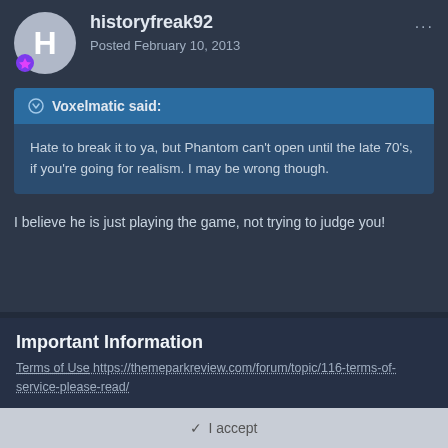historyfreak92 — Posted February 10, 2013
Voxelmatic said:
Hate to break it to ya, but Phantom can't open until the late 70's, if you're going for realism. I may be wrong though.
I believe he is just playing the game, not trying to judge you!
Important Information
Terms of Use https://themeparkreview.com/forum/topic/116-terms-of-service-please-read/
✓ I accept